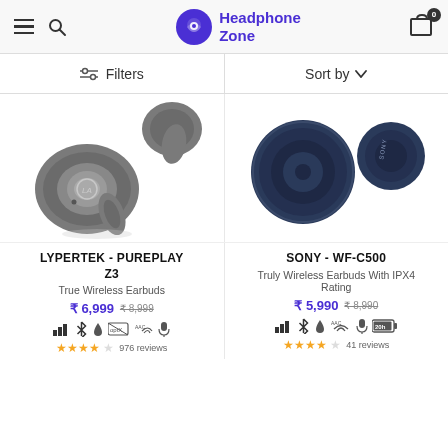Headphone Zone
Filters | Sort by
[Figure (photo): Lypertek PurePlay Z3 true wireless earbuds in dark gray/titanium color, two earbuds shown]
LYPERTEK - PUREPLAY Z3
True Wireless Earbuds
₹ 6,999  ₹ 8,999
976 reviews
[Figure (photo): Sony WF-C500 truly wireless earbuds in dark navy/black color, two earbuds shown]
SONY - WF-C500
Truly Wireless Earbuds With IPX4 Rating
₹ 5,990  ₹ 8,990
41 reviews